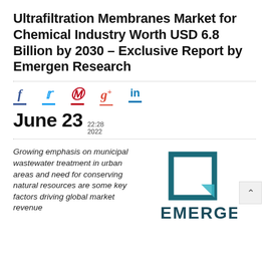Ultrafiltration Membranes Market for Chemical Industry Worth USD 6.8 Billion by 2030 – Exclusive Report by Emergen Research
[Figure (infographic): Social media share icons: Facebook (f), Twitter (bird), Pinterest (P), Google+ (g+), LinkedIn (in), each with a colored underline bar below]
June 23  22:28 2022
Growing emphasis on municipal wastewater treatment in urban areas and need for conserving natural resources are some key factors driving global market revenue
[Figure (logo): Emergen Research logo: a teal square bracket/box icon above the text EMERGEN in large dark teal letters]